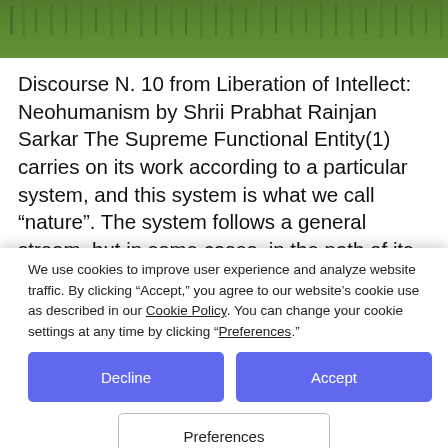[Figure (photo): Close-up photograph of green grass at the top of the page]
Discourse N. 10 from Liberation of Intellect: Neohumanism by Shrii Prabhat Rainjan Sarkar The Supreme Functional Entity(1) carries on its work according to a particular system, and this system is what we call “nature”. The system follows a general stream, but in some cases, in the path of its movement, some abnormality is expressed,
We use cookies to improve user experience and analyze website traffic. By clicking “Accept,” you agree to our website’s cookie use as described in our Cookie Policy. You can change your cookie settings at any time by clicking “Preferences.”
Decline
Accept
Preferences